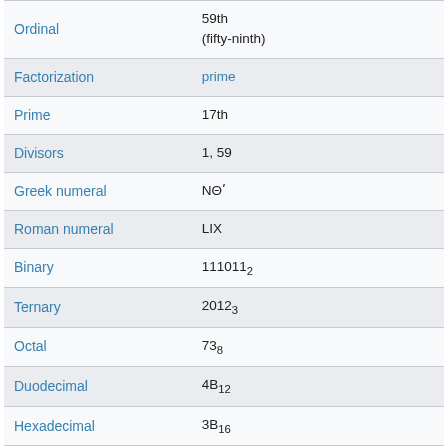| Property | Value |
| --- | --- |
| Ordinal | 59th (fifty-ninth) |
| Factorization | prime |
| Prime | 17th |
| Divisors | 1, 59 |
| Greek numeral | ΝΘ΄ |
| Roman numeral | LIX |
| Binary | 111011₂ |
| Ternary | 2012₃ |
| Octal | 73₈ |
| Duodecimal | 4B₁₂ |
| Hexadecimal | 3B₁₆ |